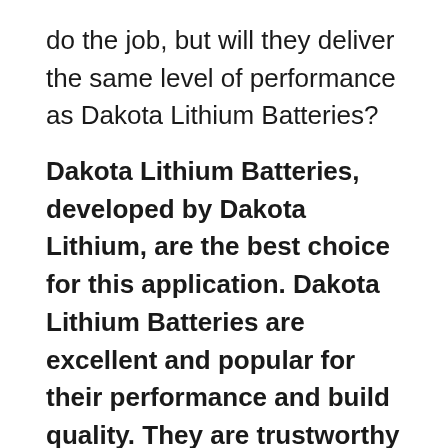do the job, but will they deliver the same level of performance as Dakota Lithium Batteries?
Dakota Lithium Batteries, developed by Dakota Lithium, are the best choice for this application. Dakota Lithium Batteries are excellent and popular for their performance and build quality. They are trustworthy and one of the most popular batteries among consumers.